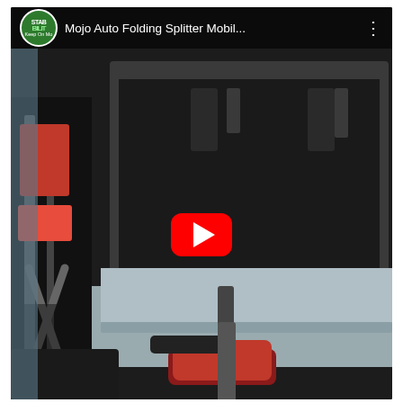[Figure (screenshot): YouTube video thumbnail showing a Mojo Auto Folding Splitter Mobility device being loaded into a car trunk. The video player interface shows the channel logo (STABILITY Keep On Mo...), video title 'Mojo Auto Folding Splitter Mobil...', a three-dot menu icon, and a large red YouTube play button in the center of the frame. The scene shows the mobility device (walker/rollator with red accents) in front of an open car trunk hatch.]